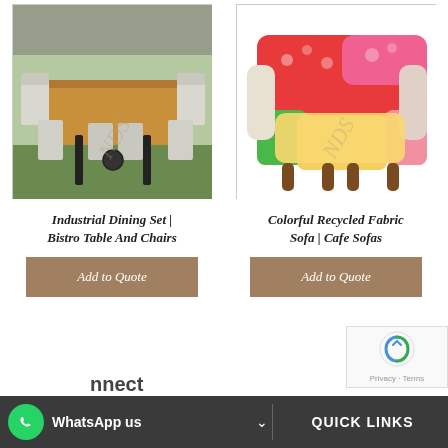[Figure (photo): Industrial dining table with metal chairs on grass, outdoor setting, brick wall background]
[Figure (photo): Colorful patchwork recycled fabric armchair with floral and geometric patterns in reds, greens, pinks and yellows]
Industrial Dining Set | Bistro Table And Chairs
Colorful Recycled Fabric Sofa | Cafe Sofas
Add to Quote
Add to Quote
WhatsApp us
QUICK LINKS
Privacy · Terms